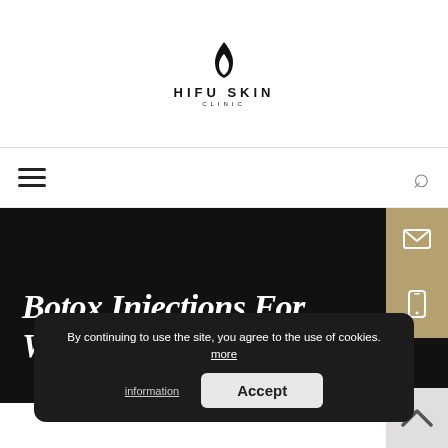[Figure (logo): HIFU SKIN CLINIC logo with flame icon above bold uppercase text]
Navigation bar with hamburger menu and search icon
Botox Injections For Wrinkles
By continuing to use the site, you agree to the use of cookies. more information
Accept